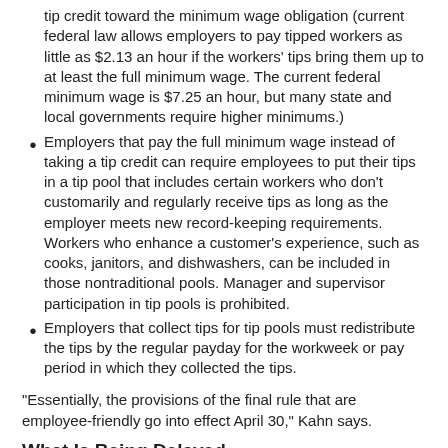tip credit toward the minimum wage obligation (current federal law allows employers to pay tipped workers as little as $2.13 an hour if the workers' tips bring them up to at least the full minimum wage. The current federal minimum wage is $7.25 an hour, but many state and local governments require higher minimums.)
Employers that pay the full minimum wage instead of taking a tip credit can require employees to put their tips in a tip pool that includes certain workers who don't customarily and regularly receive tips as long as the employer meets new record-keeping requirements. Workers who enhance a customer's experience, such as cooks, janitors, and dishwashers, can be included in those nontraditional pools. Manager and supervisor participation in tip pools is prohibited.
Employers that collect tips for tip pools must redistribute the tips by the regular payday for the workweek or pay period in which they collected the tips.
“Essentially, the provisions of the final rule that are employee-friendly go into effect April 30,” Kahn says.
What Is Being Delayed